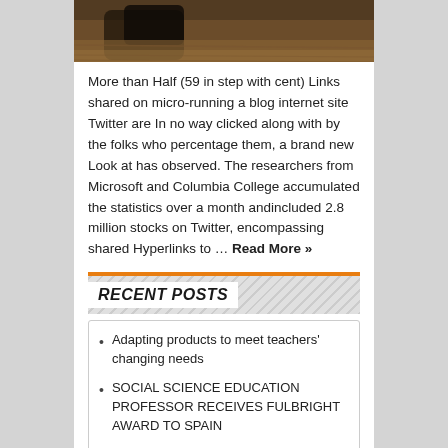[Figure (photo): Close-up photo of a dark object on a wooden surface, partially visible at top of page]
More than Half (59 in step with cent) Links shared on micro-running a blog internet site Twitter are In no way clicked along with by the folks who percentage them, a brand new Look at has observed. The researchers from Microsoft and Columbia College accumulated the statistics over a month andincluded 2.8 million stocks on Twitter, encompassing shared Hyperlinks to … Read More »
RECENT POSTS
Adapting products to meet teachers' changing needs
SOCIAL SCIENCE EDUCATION PROFESSOR RECEIVES FULBRIGHT AWARD TO SPAIN
Bottleneck Calculator: Everything You